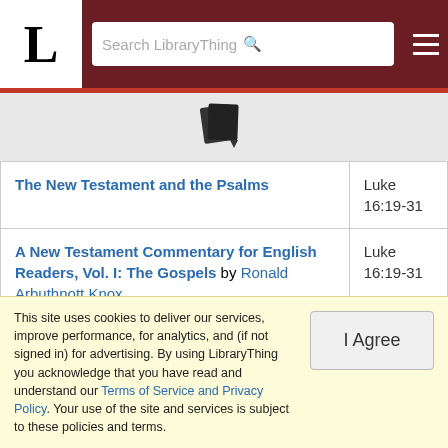LibraryThing — Search LibraryThing
[Figure (logo): LibraryThing books/copy icon with dropdown arrow]
|  |  |
| --- | --- |
| The New Testament and the Psalms | Luke 16:19-31 |
| A New Testament Commentary for English Readers, Vol. I: The Gospels by Ronald Arbuthnott Knox | Luke 16:19-31 |
| The New Testament in Modern English by J. B. Phillips | Luke 16:19-31 |
This site uses cookies to deliver our services, improve performance, for analytics, and (if not signed in) for advertising. By using LibraryThing you acknowledge that you have read and understand our Terms of Service and Privacy Policy. Your use of the site and services is subject to these policies and terms.